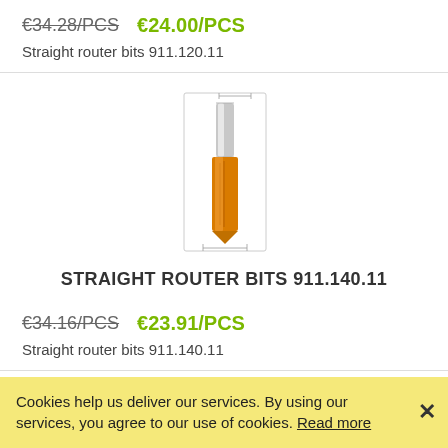€34.28/PCS  €24.00/PCS
Straight router bits 911.120.11
[Figure (photo): Product image of a straight router bit 911.140.11 with technical diagram lines showing dimensions]
STRAIGHT ROUTER BITS 911.140.11
€34.16/PCS  €23.91/PCS
Straight router bits 911.140.11
[Figure (photo): Partial product image of a straight router bit at bottom of page]
Cookies help us deliver our services. By using our services, you agree to our use of cookies. Read more